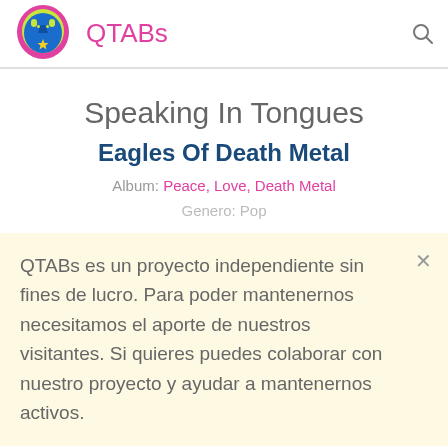QTABs
Speaking In Tongues
Eagles Of Death Metal
Album: Peace, Love, Death Metal
Genero: Pop
QTABs es un proyecto independiente sin fines de lucro. Para poder mantenernos necesitamos el aporte de nuestros visitantes. Si quieres puedes colaborar con nuestro proyecto y ayudar a mantenernos activos.